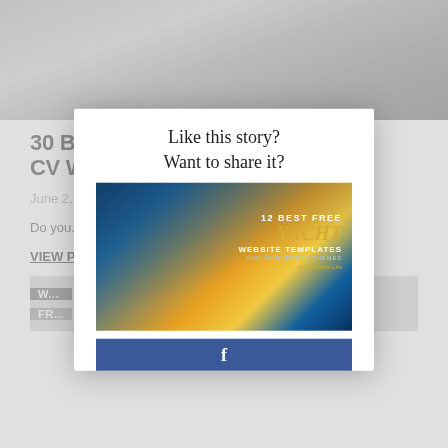[Figure (photo): Hero image of person at desk, partially visible at top of page]
30 BEST FREE ONLINE RESUME CV WEBSITE TEMPLATES
June 2, ...
Do you... desira... we've r...
VIEW P...
[Figure (screenshot): Modal overlay with 'Like this story? Want to share it?' text, yacht website template advertisement image, and Facebook share button]
Like this story?
Want to share it?
[Figure (photo): 12 Best Free Yacht Website Templates advertisement showing sailboat on ocean at sunset]